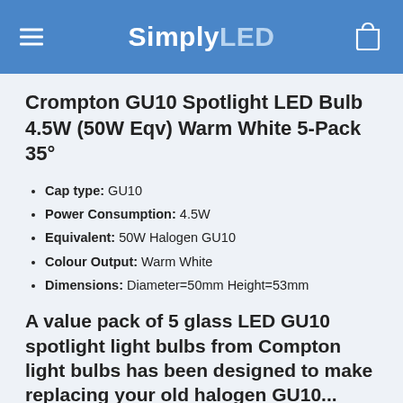SimplyLED
Crompton GU10 Spotlight LED Bulb 4.5W (50W Eqv) Warm White 5-Pack 35°
Cap type: GU10
Power Consumption: 4.5W
Equivalent: 50W Halogen GU10
Colour Output: Warm White
Dimensions: Diameter=50mm Height=53mm
A value pack of 5 glass LED GU10 spotlight light bulbs from Compton light bulbs has been designed to make replacing your old halogen GU10...